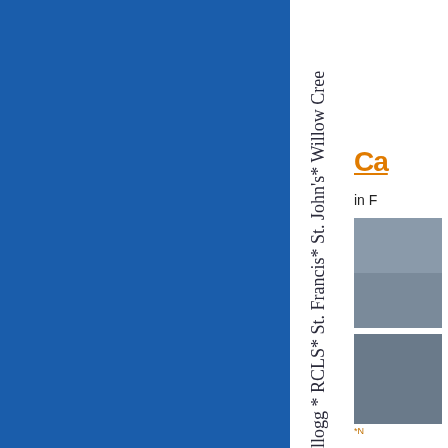[Figure (illustration): Large blue rectangle panel on the left side of the page]
[Figure (illustration): Vertical strip with cursive school names rotated 90 degrees: Kellogg * RCLS * St. Francis * St. John's * Willow Creek]
Ca
in F
[Figure (photo): Photo partially visible on right side, top portion]
[Figure (photo): Photo partially visible on right side, bottom portion]
*N